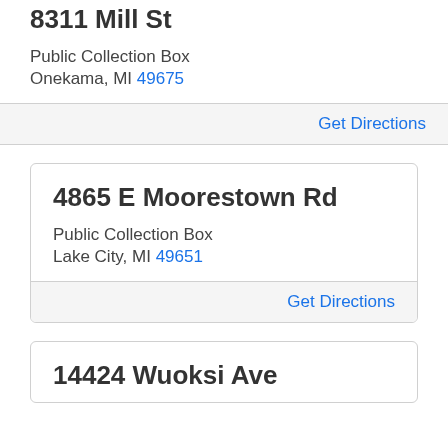8311 Mill St
Public Collection Box
Onekama, MI 49675
Get Directions
4865 E Moorestown Rd
Public Collection Box
Lake City, MI 49651
Get Directions
14424 Wuoksi Ave